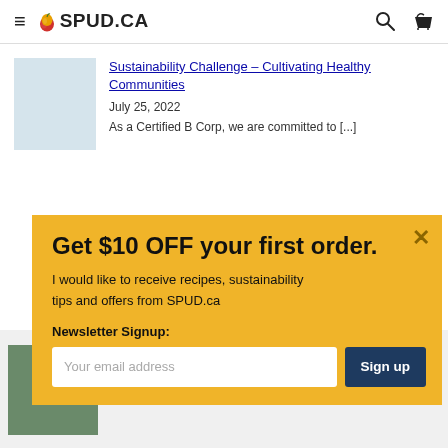SPUD.CA
Sustainability Challenge – Cultivating Healthy Communities
July 25, 2022
As a Certified B Corp, we are committed to [...]
Get $10 OFF your first order.
I would like to receive recipes, sustainability tips and offers from SPUD.ca
Newsletter Signup:
Your email address  Sign up